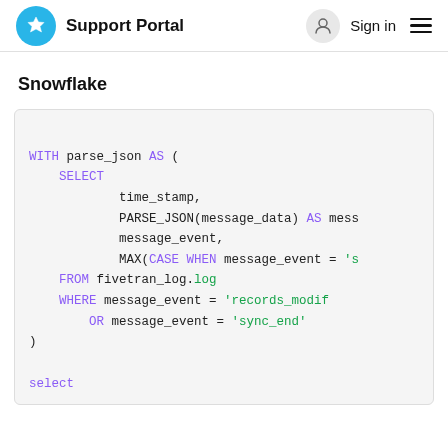Support Portal  Sign in
Snowflake
WITH parse_json AS (
    SELECT
            time_stamp,
            PARSE_JSON(message_data) AS mess
            message_event,
            MAX(CASE WHEN message_event = 's
    FROM fivetran_log.log
    WHERE message_event = 'records_modif
        OR message_event = 'sync_end'
)

select